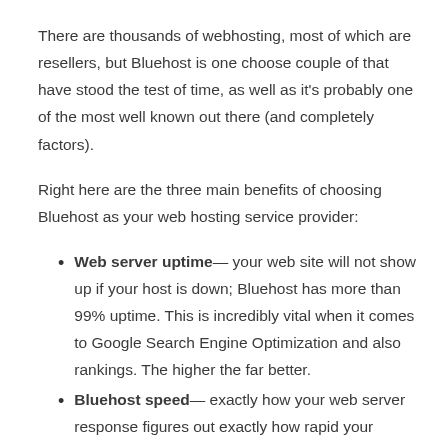There are thousands of webhosting, most of which are resellers, but Bluehost is one choose couple of that have stood the test of time, as well as it's probably one of the most well known out there (and completely factors).
Right here are the three main benefits of choosing Bluehost as your web hosting service provider:
Web server uptime— your web site will not show up if your host is down; Bluehost has more than 99% uptime. This is incredibly vital when it comes to Google Search Engine Optimization and also rankings. The higher the far better.
Bluehost speed— exactly how your web server response figures out exactly how rapid your website reveals on an internet browser; Bluehost is lighting fast, which indicates you will minimize your bounce price. Albeit not the most effective when it concerns loading rate it's still extremely essential to have a fast rate, to make customer experience